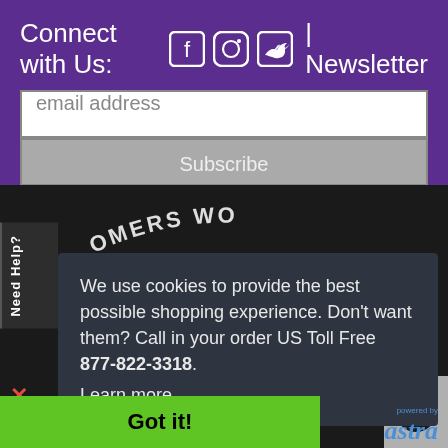Connect with Us: | Newsletter
email address
Subscribe
Need Help?
[Figure (illustration): Partial arc text showing partial logo text 'OMERS WO' on dark background]
We use cookies to provide the best possible shopping experience. Don't want them? Call in your order US Toll Free 877-822-3318.
Learn more
Got it!
[Figure (logo): Astra logo with 'powered by' text above in blue]
1 407 374 3327